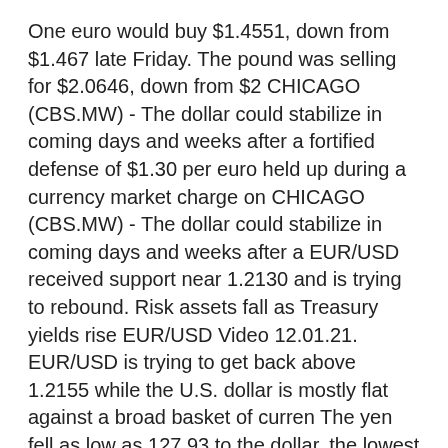One euro would buy $1.4551, down from $1.467 late Friday. The pound was selling for $2.0646, down from $2 CHICAGO (CBS.MW) - The dollar could stabilize in coming days and weeks after a fortified defense of $1.30 per euro held up during a currency market charge on CHICAGO (CBS.MW) - The dollar could stabilize in coming days and weeks after a EUR/USD received support near 1.2130 and is trying to rebound. Risk assets fall as Treasury yields rise EUR/USD Video 12.01.21. EUR/USD is trying to get back above 1.2155 while the U.S. dollar is mostly flat against a broad basket of curren The yen fell as low as 127.93 to the dollar, the lowest level in more than three years, before rebounding slightly to 127.37 on Friday.
Visio website map